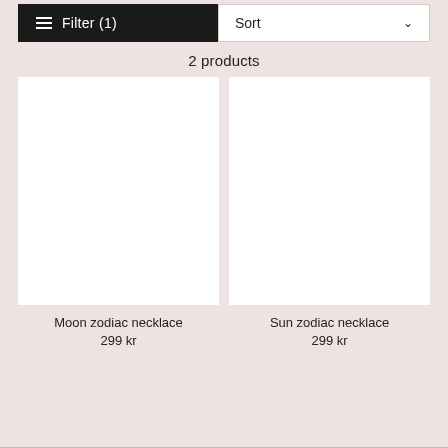Filter (1)
Sort
2 products
[Figure (photo): White blank product image placeholder for Moon zodiac necklace]
Moon zodiac necklace
299 kr
[Figure (photo): White blank product image placeholder for Sun zodiac necklace]
Sun zodiac necklace
299 kr